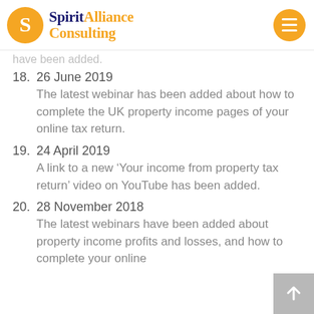[Figure (logo): Spirit Alliance Consulting logo with orange circle S icon and navy/orange text]
have been added.
18. 26 June 2019
The latest webinar has been added about how to complete the UK property income pages of your online tax return.
19. 24 April 2019
A link to a new ‘Your income from property tax return’ video on YouTube has been added.
20. 28 November 2018
The latest webinars have been added about property income profits and losses, and how to complete your online